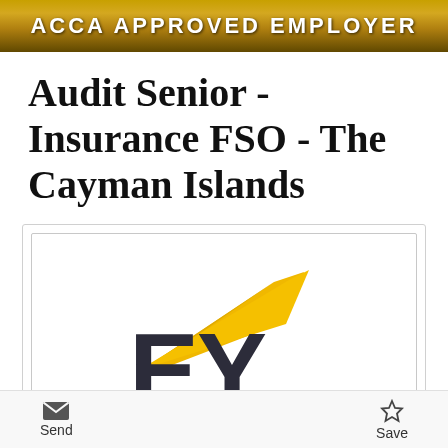ACCA APPROVED EMPLOYER
Audit Senior - Insurance FSO - The Cayman Islands
[Figure (logo): EY (Ernst & Young) logo with yellow chevron/arrow graphic above large dark grey 'EY' letters and tagline 'Building a better working world']
Send   Save